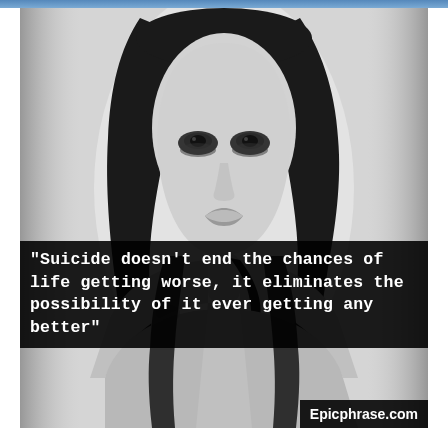[Figure (photo): Black and white photograph of a young woman with long dark hair and dark eye makeup, looking directly at the camera. She appears to be wearing a dark strap top or lingerie. The background is light/white.]
"Suicide doesn't end the chances of life getting worse, it eliminates the possibility of it ever getting any better"
Epicphrase.com